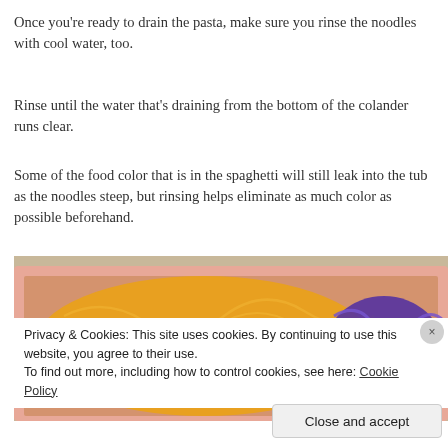Once you're ready to drain the pasta, make sure you rinse the noodles with cool water, too.
Rinse until the water that's draining from the bottom of the colander runs clear.
Some of the food color that is in the spaghetti will still leak into the tub as the noodles steep, but rinsing helps eliminate as much color as possible beforehand.
[Figure (photo): A pink plastic tub/bin containing orange and purple cooked spaghetti noodles.]
Privacy & Cookies: This site uses cookies. By continuing to use this website, you agree to their use.
To find out more, including how to control cookies, see here: Cookie Policy
Close and accept